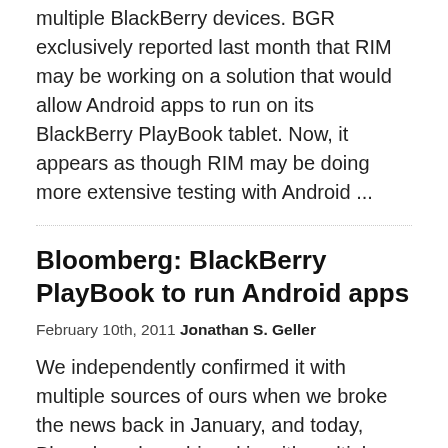multiple BlackBerry devices. BGR exclusively reported last month that RIM may be working on a solution that would allow Android apps to run on its BlackBerry PlayBook tablet. Now, it appears as though RIM may be doing more extensive testing with Android ...
Bloomberg: BlackBerry PlayBook to run Android apps
February 10th, 2011 Jonathan S. Geller
We independently confirmed it with multiple sources of ours when we broke the news back in January, and today, Bloomberg has chimed in with multiple sources of its own claiming that the BlackBerry PlayBook will indeed run Android applications. We reported that the PlayBook might run the Java VM Dalvik, but later received information that RIM might ...